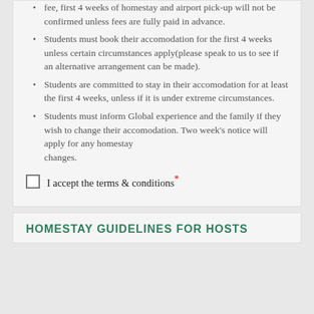fee, first 4 weeks of homestay and airport pick-up will not be confirmed unless fees are fully paid in advance.
Students must book their accomodation for the first 4 weeks unless certain circumstances apply(please speak to us to see if an alternative arrangement can be made).
Students are committed to stay in their accomodation for at least the first 4 weeks, unless if it is under extreme circumstances.
Students must inform Global experience and the family if they wish to change their accomodation. Two week's notice will apply for any homestay changes.
I accept the terms & conditions*
HOMESTAY GUIDELINES FOR HOSTS